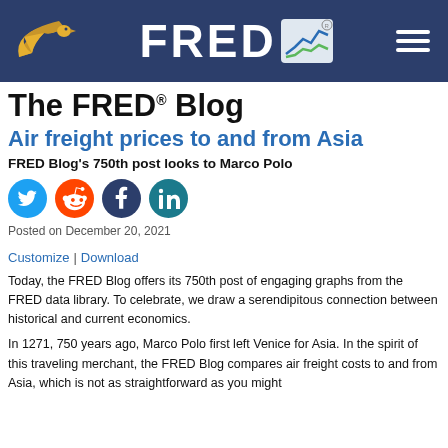The FRED Blog — header with bird logo, FRED logo, and hamburger menu
The FRED® Blog
Air freight prices to and from Asia
FRED Blog's 750th post looks to Marco Polo
[Figure (infographic): Social share icons: Twitter (blue), Reddit (orange), Facebook (dark blue), LinkedIn (teal)]
Posted on December 20, 2021
Customize | Download
Today, the FRED Blog offers its 750th post of engaging graphs from the FRED data library. To celebrate, we draw a serendipitous connection between historical and current economics.
In 1271, 750 years ago, Marco Polo first left Venice for Asia. In the spirit of this traveling merchant, the FRED Blog compares air freight costs to and from Asia, which is not as straightforward as you might